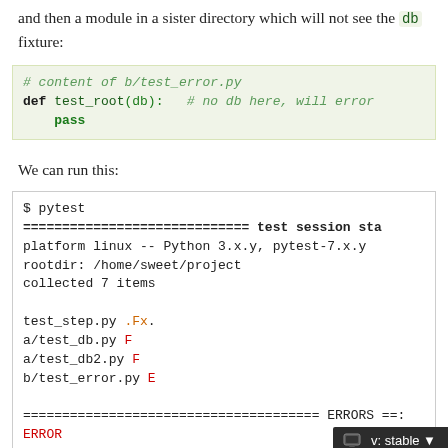and then a module in a sister directory which will not see the db fixture:
[Figure (screenshot): Code block showing content of b/test_error.py with def test_root(db): # no db here, will error and pass]
We can run this:
[Figure (screenshot): Terminal output showing pytest run with test results: test_step.py .Fx., a/test_db.py F, a/test_db2.py F, b/test_error.py E, followed by ERRORS section header and version badge v: stable]